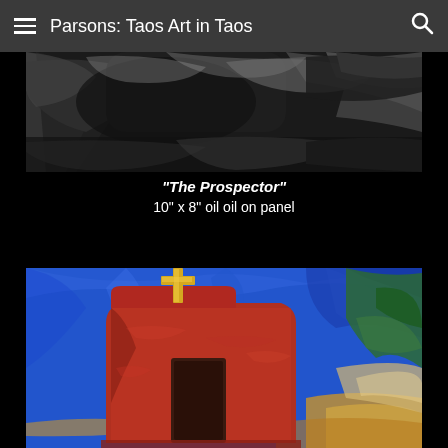Parsons: Taos Art in Taos
[Figure (photo): Close-up oil painting showing dark dramatic brushstrokes in blacks, grays, and whites — upper portion of 'The Prospector' painting]
"The Prospector"
10" x 8" oil oil on panel
[Figure (photo): Oil painting of a red adobe church or chapel with a gold cross on top, painted in an expressionist style with heavy impasto. Blue sky background with green foliage on the right. Yellow and ochre earth tones at the bottom.]